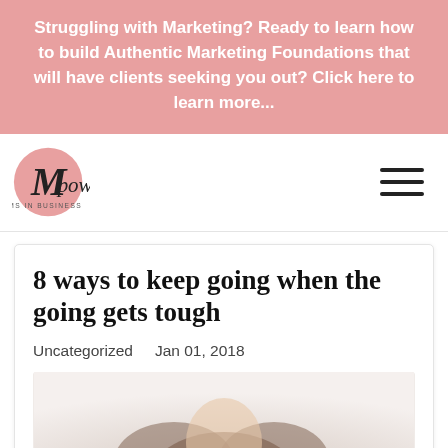Struggling with Marketing? Ready to learn how to build Authentic Marketing Foundations that will have clients seeking you out? Click here to learn more...
[Figure (logo): Mpower Mums in Business logo - circular pink background with cursive/script text]
8 ways to keep going when the going gets tough
Uncategorized    Jan 01, 2018
[Figure (photo): Partial photo of a woman, cropped at bottom of page]